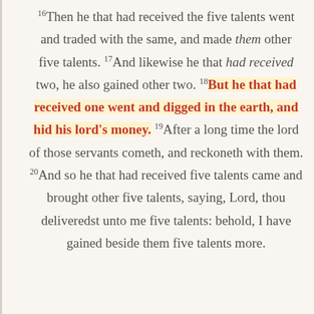16Then he that had received the five talents went and traded with the same, and made them other five talents. 17And likewise he that had received two, he also gained other two. 18But he that had received one went and digged in the earth, and hid his lord's money. 19After a long time the lord of those servants cometh, and reckoneth with them. 20And so he that had received five talents came and brought other five talents, saying, Lord, thou deliveredst unto me five talents: behold, I have gained beside them five talents more.